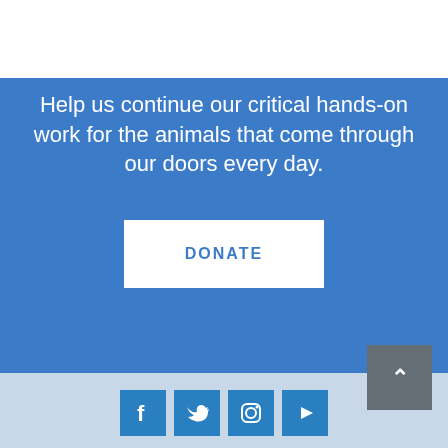[Figure (logo): North Shore Animal League logo with blue arc and bird silhouettes]
Leader in the NO-KILL Movement
Help us continue our critical hands-on work for the animals that come through our doors every day.
DONATE
[Figure (infographic): Social media icons: Facebook, Twitter, Instagram, YouTube]